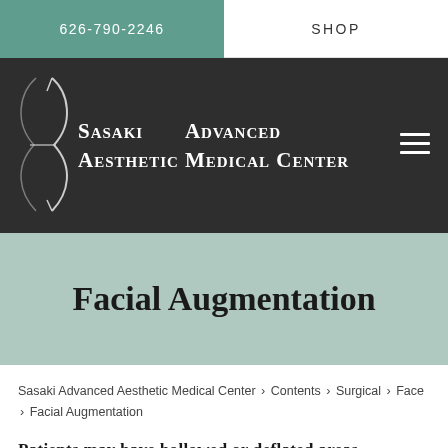626-790-2246   SHOP
[Figure (logo): Sasaki Advanced Aesthetic Medical Center logo with stylized S-curve graphic on dark background]
Facial Augmentation
Sasaki Advanced Aesthetic Medical Center > Contents > Surgical > Face > Facial Augmentation
Patients may have hollowed or deflated areas